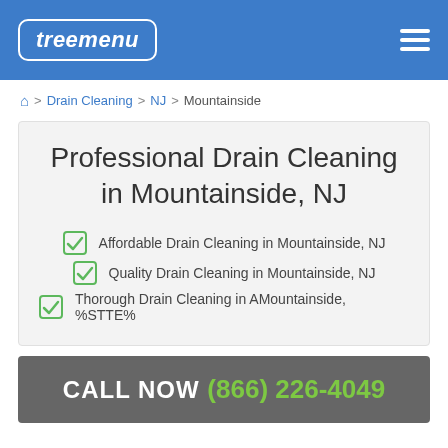treemenu
Home > Drain Cleaning > NJ > Mountainside
Professional Drain Cleaning in Mountainside, NJ
Affordable Drain Cleaning in Mountainside, NJ
Quality Drain Cleaning in Mountainside, NJ
Thorough Drain Cleaning in AMountainside, %STTE%
CALL NOW (866) 226-4049